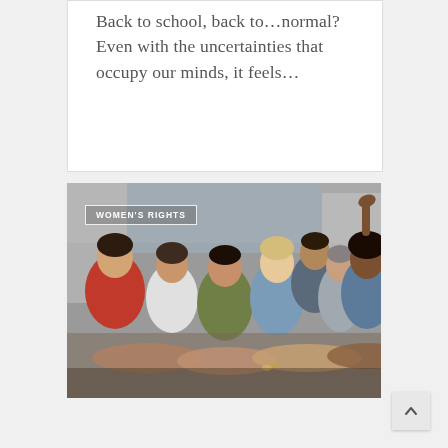Back to school, back to...normal? Even with the uncertainties that occupy our minds, it feels…
[Figure (photo): A group of diverse women standing together in a serious pose, with one man visible in the background. The image has an overlay label reading WOMEN'S RIGHTS in white text with a white border rectangle.]